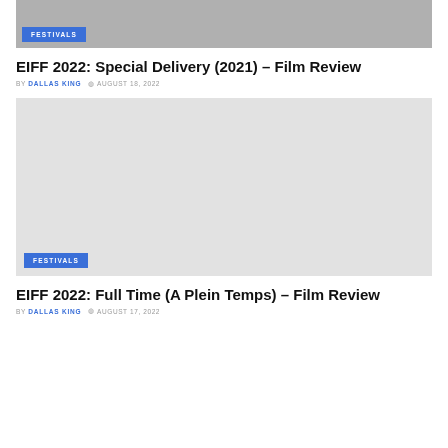[Figure (photo): Top portion of a film-related image with a FESTIVALS category badge overlay]
EIFF 2022: Special Delivery (2021) – Film Review
BY DALLAS KING  AUGUST 18, 2022
[Figure (photo): Gray placeholder image for EIFF 2022 Full Time film review article with a FESTIVALS category badge overlay]
EIFF 2022: Full Time (A Plein Temps) – Film Review
BY DALLAS KING  AUGUST 17, 2022